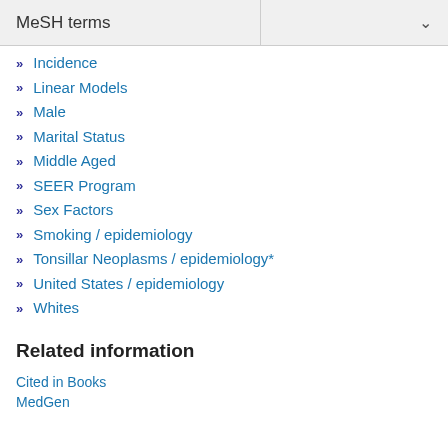MeSH terms
Incidence
Linear Models
Male
Marital Status
Middle Aged
SEER Program
Sex Factors
Smoking / epidemiology
Tonsillar Neoplasms / epidemiology*
United States / epidemiology
Whites
Related information
Cited in Books
MedGen